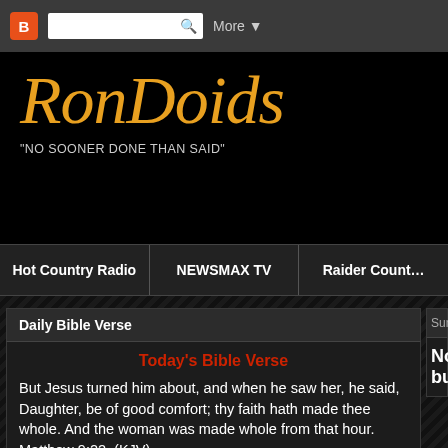Blogger search bar with More button
RonDoids
"NO SOONER DONE THAN SAID"
Hot Country Radio | NEWSMAX TV | Raider Country
Daily Bible Verse
Today's Bible Verse
But Jesus turned him about, and when he saw her, he said, Daughter, be of good comfort; thy faith hath made thee whole. And the woman was made whole from that hour.
Matthew 9:22  (KJV)
Provided by Christ Notes Bible Search